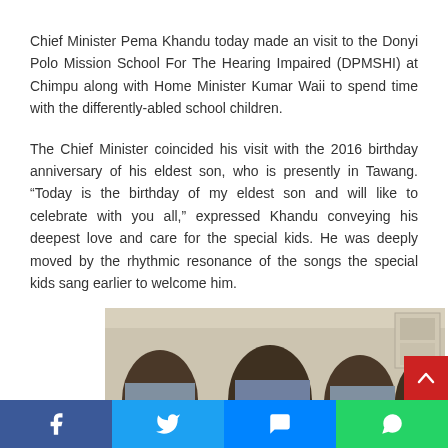Chief Minister Pema Khandu today made an visit to the Donyi Polo Mission School For The Hearing Impaired (DPMSHI) at Chimpu along with Home Minister Kumar Waii to spend time with the differently-abled school children.
The Chief Minister coincided his visit with the 2016 birthday anniversary of his eldest son, who is presently in Tawang. “Today is the birthday of my eldest son and will like to celebrate with you all,” expressed Khandu conveying his deepest love and care for the special kids. He was deeply moved by the rhythmic resonance of the songs the special kids sang earlier to welcome him.
[Figure (photo): A group photo showing people seated, with the backs of their heads visible in the foreground, taken at what appears to be an indoor school event.]